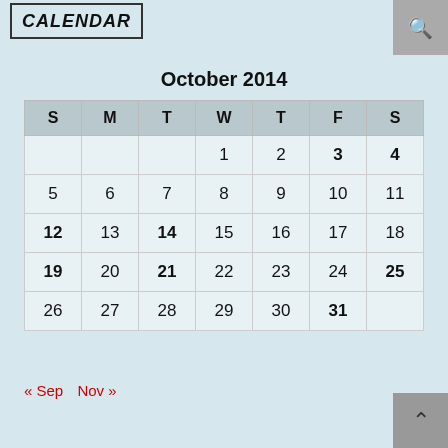CALENDAR
October 2014
| S | M | T | W | T | F | S |
| --- | --- | --- | --- | --- | --- | --- |
|  |  |  | 1 | 2 | 3 | 4 |
| 5 | 6 | 7 | 8 | 9 | 10 | 11 |
| 12 | 13 | 14 | 15 | 16 | 17 | 18 |
| 19 | 20 | 21 | 22 | 23 | 24 | 25 |
| 26 | 27 | 28 | 29 | 30 | 31 |  |
« Sep   Nov »